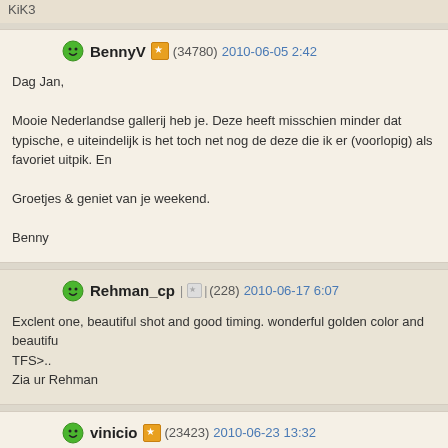KiK3
BennyV (34780) 2010-06-05 2:42
Dag Jan,

Mooie Nederlandse gallerij heb je. Deze heeft misschien minder dat typische, e uiteindelijk is het toch net nog de deze die ik er (voorlopig) als favoriet uitpik. En

Groetjes & geniet van je weekend.

Benny
Rehman_cp (228) 2010-06-17 6:07
Exclent one, beautiful shot and good timing. wonderful golden color and beautifu TFS>..
Zia ur Rehman
vinicio (23423) 2010-06-23 13:32
Hi Jan, I see that you have a lot of beautiful landscapes into your portfolio, but h done and full of fascinating atmosphere and skill, compliments.
Ciao
Vinicio